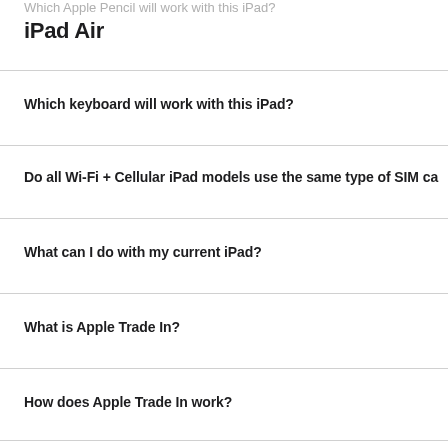Which Apple Pencil will work with this iPad?
iPad Air
Which keyboard will work with this iPad?
Do all Wi-Fi + Cellular iPad models use the same type of SIM ca
What can I do with my current iPad?
What is Apple Trade In?
How does Apple Trade In work?
If the...